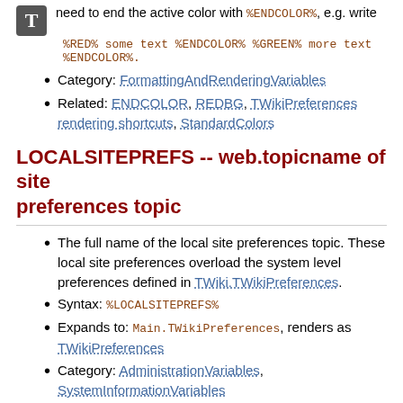need to end the active color with %ENDCOLOR%, e.g. write
%RED% some text %ENDCOLOR% %GREEN% more text %ENDCOLOR%.
Category: FormattingAndRenderingVariables
Related: ENDCOLOR, REDBG, TWikiPreferences rendering shortcuts, StandardColors
LOCALSITEPREFS -- web.topicname of site preferences topic
The full name of the local site preferences topic. These local site preferences overload the system level preferences defined in TWiki.TWikiPreferences.
Syntax: %LOCALSITEPREFS%
Expands to: Main.TWikiPreferences, renders as TWikiPreferences
Category: AdministrationVariables, SystemInformationVariables
Related: WEBPREFSTOPIC, WIKIPREFSTOPIC
LOGIN -- present a full login link to non-authenticated user